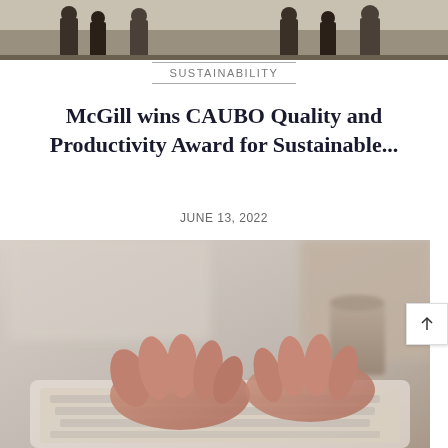[Figure (photo): Group of people standing together, partially visible at top of page]
SUSTAINABILITY
McGill wins CAUBO Quality and Productivity Award for Sustainable...
JUNE 13, 2022
[Figure (photo): Close-up of hands typing on a keyboard with a blurred background and a cup visible]